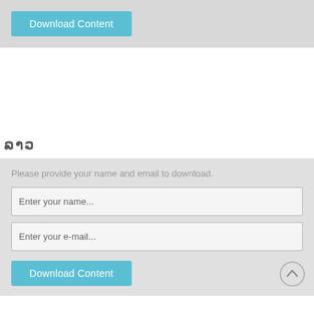[Figure (screenshot): Download Content button in light blue on a grey bar at the top of a webpage]
ລາວ
Please provide your name and email to download.
Enter your name...
Enter your e-mail...
[Figure (screenshot): Download Content button in light blue at the bottom of the form section]